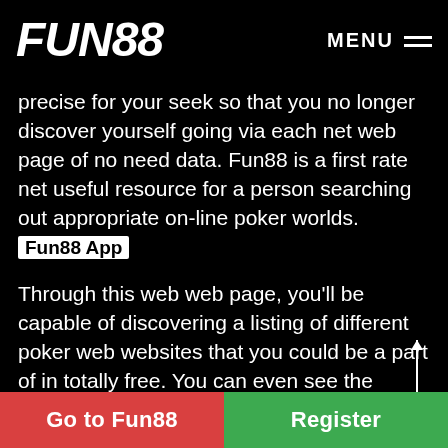FUN88   MENU
precise for your seek so that you no longer discover yourself going via each net web page of no need data. Fun88 is a first rate net useful resource for a person searching out appropriate on-line poker worlds. Fun88 App
Through this web web page, you'll be capable of discovering a listing of different poker web websites that you could be a part of in totally free. You can even see the whole info of every web web page on its web web page scores and evaluations on how they work. This web web
Go to Fun88   Register